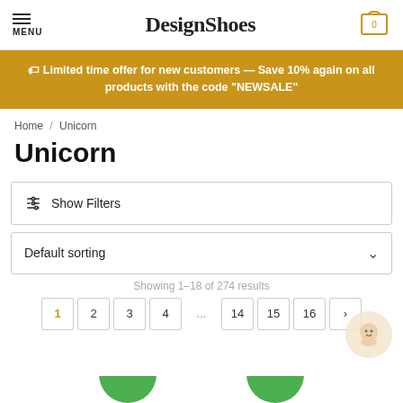MENU | DesignShoes | Cart: 0
🏷 Limited time offer for new customers — Save 10% again on all products with the code "NEWSALE"
Home / Unicorn
Unicorn
Show Filters
Default sorting
Showing 1–18 of 274 results
1 2 3 4 ... 14 15 16 >